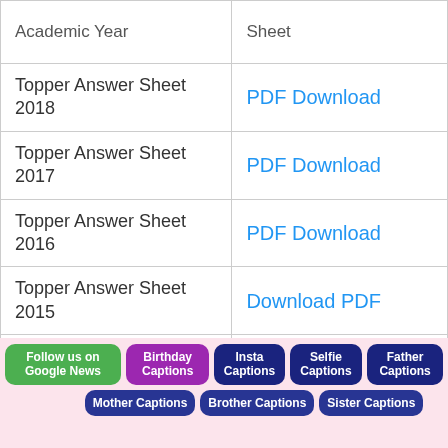| Academic Year | Sheet |
| --- | --- |
| Topper Answer Sheet 2018 | PDF Download |
| Topper Answer Sheet 2017 | PDF Download |
| Topper Answer Sheet 2016 | PDF Download |
| Topper Answer Sheet 2015 | Download PDF |
Follow us on Google News | Birthday Captions | Insta Captions | Selfie Captions | Father Captions | Mother Captions | Brother Captions | Sister Captions